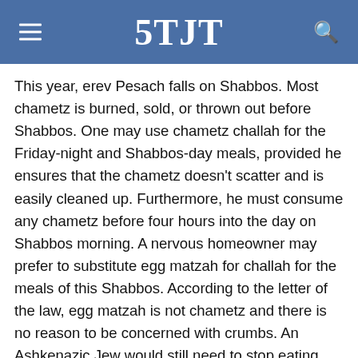5TJT
This year, erev Pesach falls on Shabbos. Most chametz is burned, sold, or thrown out before Shabbos. One may use chametz challah for the Friday-night and Shabbos-day meals, provided he ensures that the chametz doesn’t scatter and is easily cleaned up. Furthermore, he must consume any chametz before four hours into the day on Shabbos morning. A nervous homeowner may prefer to substitute egg matzah for challah for the meals of this Shabbos. According to the letter of the law, egg matzah is not chametz and there is no reason to be concerned with crumbs. An Ashkenazic Jew would still need to stop eating egg matzah four hours into the day.